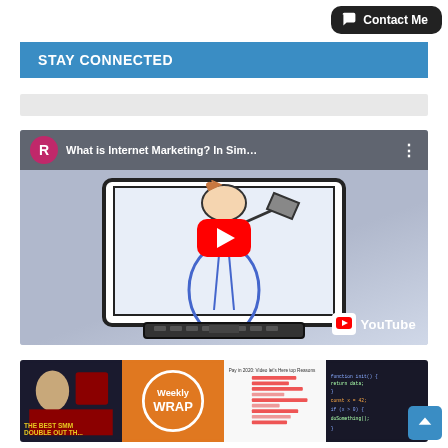[Figure (screenshot): Contact Me button with speech bubble icon, dark rounded rectangle]
STAY CONNECTED
[Figure (screenshot): Gray placeholder bar]
[Figure (screenshot): YouTube video embed: 'What is Internet Marketing? In Sim...' with red play button, YouTube logo, avatar R, illustrated sketch of person with megaphone coming out of computer monitor]
[Figure (screenshot): Row of four video thumbnails at bottom: person with red shield logo 'THE BEST SMM DOUBLE OUT TH...', orange Weekly Wrap logo, bar chart infographic, dark coding screenshot]